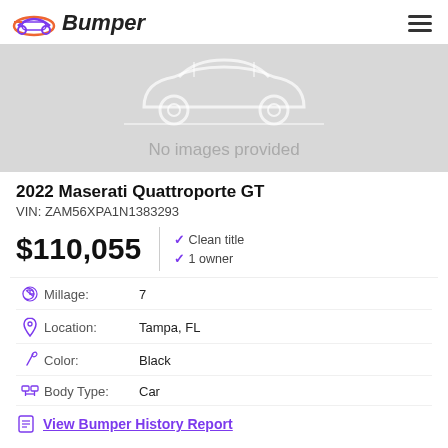Bumper
[Figure (illustration): Gray placeholder car image area with white car outline silhouette and text 'No images provided']
2022 Maserati Quattroporte GT
VIN: ZAM56XPA1N1383293
$110,055
Clean title
1 owner
Millage: 7
Location: Tampa, FL
Color: Black
Body Type: Car
View Bumper History Report